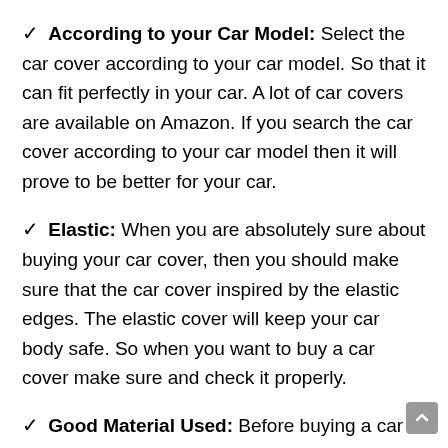According to your Car Model: Select the car cover according to your car model. So that it can fit perfectly in your car. A lot of car covers are available on Amazon. If you search the car cover according to your car model then it will prove to be better for your car.
Elastic: When you are absolutely sure about buying your car cover, then you should make sure that the car cover inspired by the elastic edges. The elastic cover will keep your car body safe. So when you want to buy a car cover make sure and check it properly.
Good Material Used: Before buying a car cover, make sure that the car cover has good material used. And also make sure that there should be a waterproof car cover as it will be better for your car. Our opinion will